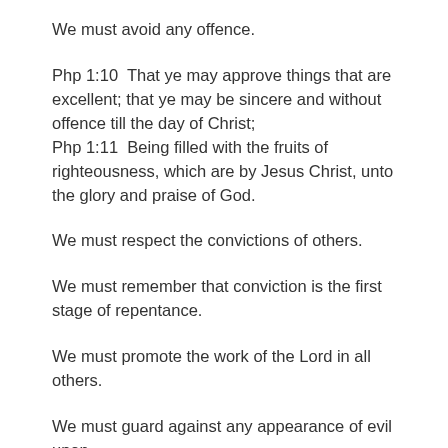We must avoid any offence.
Php 1:10  That ye may approve things that are excellent; that ye may be sincere and without offence till the day of Christ;
Php 1:11  Being filled with the fruits of righteousness, which are by Jesus Christ, unto the glory and praise of God.
We must respect the convictions of others.
We must remember that conviction is the first stage of repentance.
We must promote the work of the Lord in all others.
We must guard against any appearance of evil upon